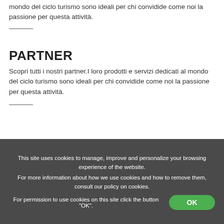mondo del ciclo turismo sono ideali per chi convidide come noi la passione per questa attività.
PARTNER
Scopri tutti i nostri partner.I loro prodotti e servizi dedicati al mondo del ciclo turismo sono ideali per chi convidide come noi la passione per questa attività.
This site uses cookies to manage, improve and personalize your browsing experience of the website.
For more information about how we use cookies and how to remove them, consult our policy on cookies.
For permission to use cookies on this site click the button "OK".